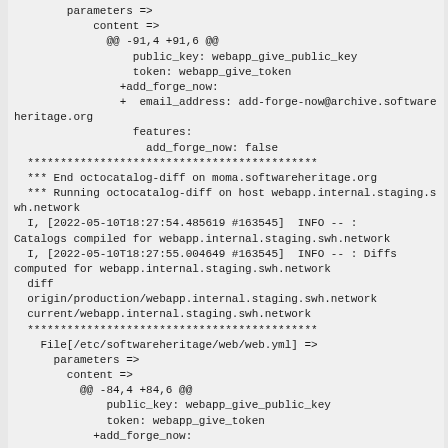parameters =>
    content =>
      @@ -91,4 +91,6 @@
          public_key: webapp_give_public_key
          token: webapp_give_token
        +add_forge_now:
        +  email_address: add-forge-now@archive.softwareheritage.org
          features:
            add_forge_now: false
  ********************************************
  *** End octocatalog-diff on moma.softwareheritage.org
  *** Running octocatalog-diff on host webapp.internal.staging.swh.network
  I, [2022-05-10T18:27:54.485619 #163545]  INFO -- : Catalogs compiled for webapp.internal.staging.swh.network
  I, [2022-05-10T18:27:55.004649 #163545]  INFO -- : Diffs computed for webapp.internal.staging.swh.network
  diff
  origin/production/webapp.internal.staging.swh.network
  current/webapp.internal.staging.swh.network
  ********************************************
    File[/etc/softwareheritage/web/web.yml] =>
      parameters =>
        content =>
          @@ -84,4 +84,6 @@
              public_key: webapp_give_public_key
              token: webapp_give_token
            +add_forge_now: